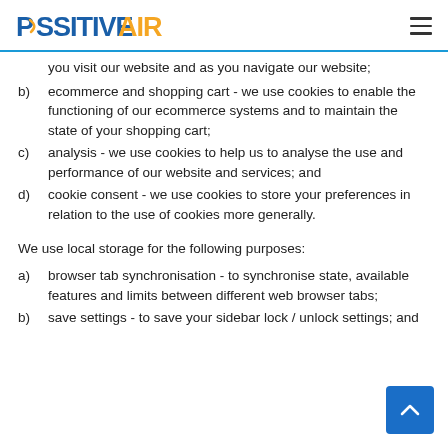POSITIVE AIR
you visit our website and as you navigate our website;
b) ecommerce and shopping cart - we use cookies to enable the functioning of our ecommerce systems and to maintain the state of your shopping cart;
c) analysis - we use cookies to help us to analyse the use and performance of our website and services; and
d) cookie consent - we use cookies to store your preferences in relation to the use of cookies more generally.
We use local storage for the following purposes:
a) browser tab synchronisation - to synchronise state, available features and limits between different web browser tabs;
b) save settings - to save your sidebar lock / unlock settings; and